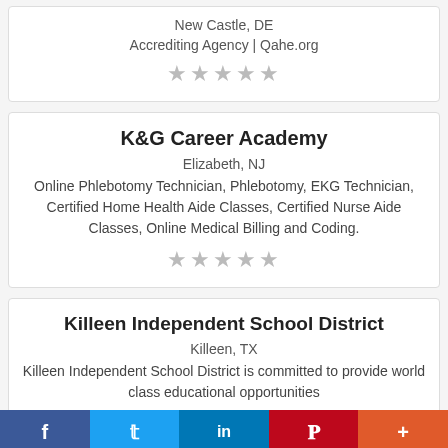New Castle, DE
Accrediting Agency | Qahe.org
[Figure (other): 5 empty star rating icons]
K&G Career Academy
Elizabeth, NJ
Online Phlebotomy Technician, Phlebotomy, EKG Technician, Certified Home Health Aide Classes, Certified Nurse Aide Classes, Online Medical Billing and Coding.
[Figure (other): 5 empty star rating icons]
Killeen Independent School District
Killeen, TX
Killeen Independent School District is committed to provide world class educational opportunities
[Figure (other): Social media share bar with Facebook, Twitter, LinkedIn, Pinterest, and More buttons]